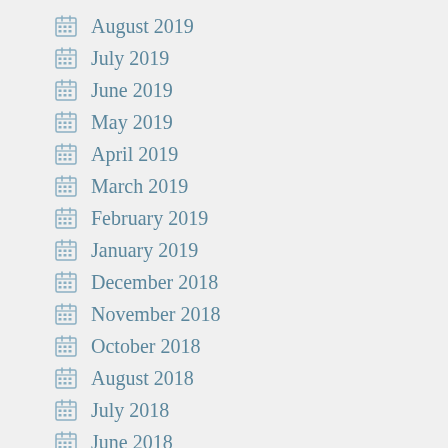August 2019
July 2019
June 2019
May 2019
April 2019
March 2019
February 2019
January 2019
December 2018
November 2018
October 2018
August 2018
July 2018
June 2018